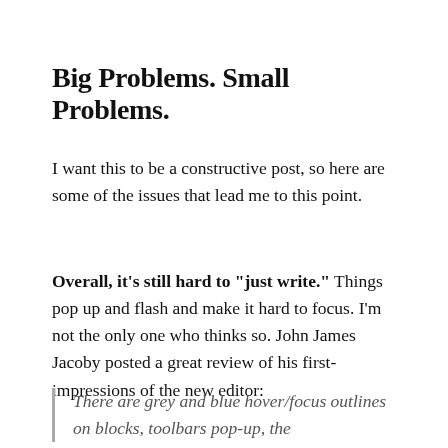Big Problems. Small Problems.
I want this to be a constructive post, so here are some of the issues that lead me to this point.
Overall, it’s still hard to “just write.” Things pop up and flash and make it hard to focus. I’m not the only one who thinks so. John James Jacoby posted a great review of his first-impressions of the new editor:
There are grey and blue hover/focus outlines on blocks, toolbars pop-up, the